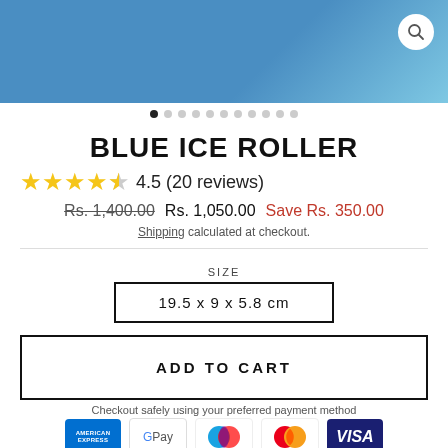[Figure (photo): Product image area showing blue ice roller on blue background with search icon]
[Figure (other): Carousel navigation dots, 11 dots total, first dot active/filled]
BLUE ICE ROLLER
★★★★☆ 4.5 (20 reviews)
Rs. 1,400.00  Rs. 1,050.00  Save Rs. 350.00
Shipping calculated at checkout.
SIZE
19.5 x 9 x 5.8 cm
ADD TO CART
Checkout safely using your preferred payment method
[Figure (other): Payment method icons: American Express, Google Pay, Maestro, Mastercard, VISA]